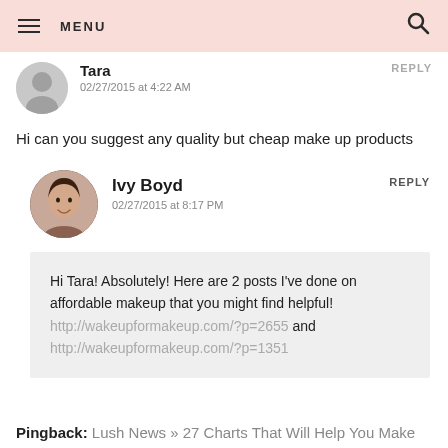MENU
Tara
02/27/2015 at 4:22 AM
REPLY
Hi can you suggest any quality but cheap make up products
Ivy Boyd
02/27/2015 at 8:17 PM
REPLY
Hi Tara! Absolutely! Here are 2 posts I've done on affordable makeup that you might find helpful! http://wakeupformakeup.com/?p=2655 and http://wakeupformakeup.com/?p=1351
Pingback: Lush News » 27 Charts That Will Help You Make